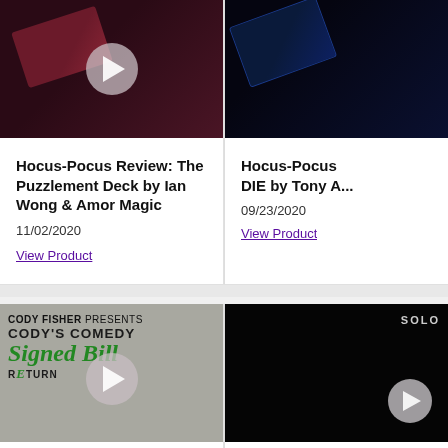[Figure (photo): Dark background image of a maroon/dark red playing card with a play button overlay]
Hocus-Pocus Review: The Puzzlement Deck by Ian Wong & Amor Magic
11/02/2020
View Product
[Figure (photo): Dark background image of a dark blue card deck with yellow outline illustrations]
Hocus-Pocus DIE by Tony A...
09/23/2020
View Product
[Figure (photo): Gray background with text: CODY FISHER PRESENTS - CODY'S COMEDY - Signed Bill - with green script lettering and a play button]
[Figure (photo): Dark/black background with SOLO text in upper right and a play button]